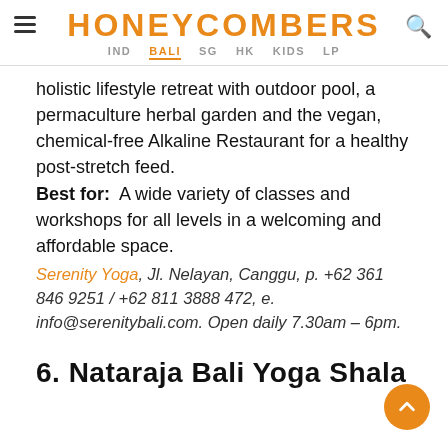HONEYCOMBERS — IND BALI SG HK KIDS LP
holistic lifestyle retreat with outdoor pool, a permaculture herbal garden and the vegan, chemical-free Alkaline Restaurant for a healthy post-stretch feed. Best for: A wide variety of classes and workshops for all levels in a welcoming and affordable space.
Serenity Yoga, Jl. Nelayan, Canggu, p. +62 361 846 9251 / +62 811 3888 472, e. info@serenitybali.com. Open daily 7.30am – 6pm.
6. Nataraja Bali Yoga Shala